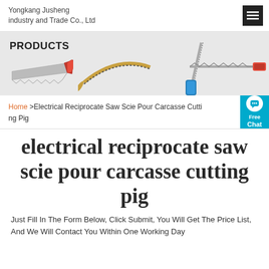Yongkang Jusheng industry and Trade Co., Ltd
[Figure (screenshot): Products banner showing various saws including hand saw, curved pruning saw, folding saw, and a long saw with red handle]
Home >Electrical Reciprocate Saw Scie Pour Carcasse Cutting Pig
electrical reciprocate saw scie pour carcasse cutting pig
Just Fill In The Form Below, Click Submit, You Will Get The Price List, And We Will Contact You Within One Working Day